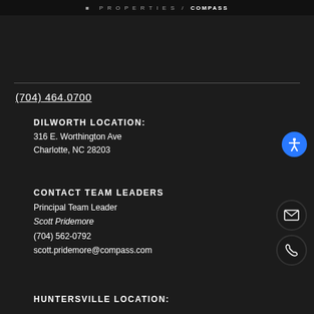PROPERTIES / COMPASS
(704) 464.0700
DILWORTH LOCATION:
316 E. Worthington Ave
Charlotte, NC 28203
CONTACT TEAM LEADERS
Principal Team Leader
Scott Pridemore
(704) 562-0792
scott.pridemore@compass.com
HUNTERSVILLE LOCATION: